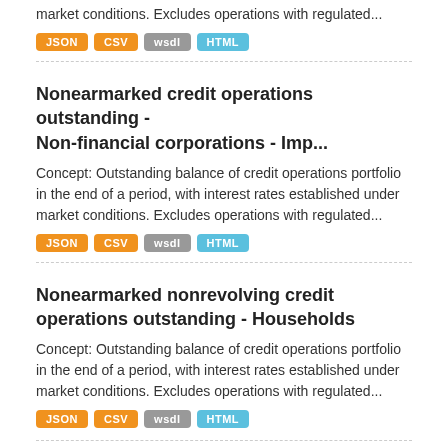market conditions. Excludes operations with regulated...
JSON CSV wsdl HTML
Nonearmarked credit operations outstanding - Non-financial corporations - Imp...
Concept: Outstanding balance of credit operations portfolio in the end of a period, with interest rates established under market conditions. Excludes operations with regulated...
JSON CSV wsdl HTML
Nonearmarked nonrevolving credit operations outstanding - Households
Concept: Outstanding balance of credit operations portfolio in the end of a period, with interest rates established under market conditions. Excludes operations with regulated...
JSON CSV wsdl HTML